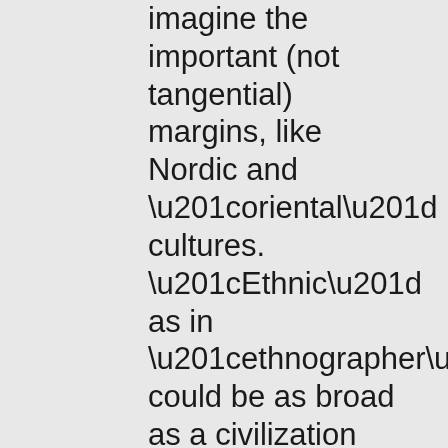imagine the important (not tangential) margins, like Nordic and “oriental” cultures. “Ethnic” as in “ethnographer” could be as broad as a civilization but as narrow as a tiny community, such as the “dying lands” of a handful of people in, say, the Scottish Isles or small communities along the Black or Caspian seas, or a “new tribe” that emerges in a jungle or urban environment, or a tiny subculture or group of particular interest.